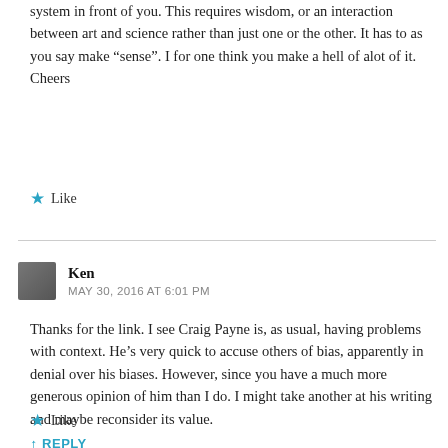system in front of you. This requires wisdom, or an interaction between art and science rather than just one or the other. It has to as you say make “sense”. I for one think you make a hell of alot of it. Cheers
Like
Ken
MAY 30, 2016 AT 6:01 PM
Thanks for the link. I see Craig Payne is, as usual, having problems with context. He’s very quick to accuse others of bias, apparently in denial over his biases. However, since you have a much more generous opinion of him than I do. I might take another at his writing and maybe reconsider its value.
Like
REPLY